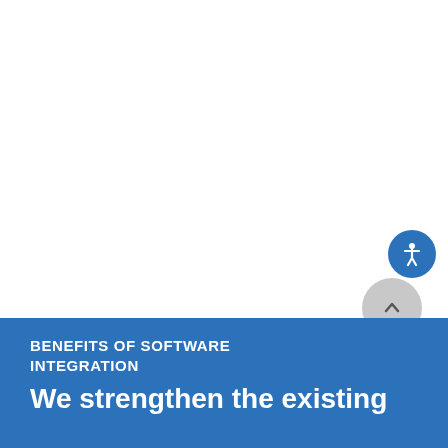[Figure (other): White background area, upper portion of a webpage screenshot]
[Figure (other): Blue circular accessibility icon button with a person/wheelchair symbol, positioned upper right of the blue section]
[Figure (other): Gray circular scroll-to-top button with an upward chevron arrow]
BENEFITS OF SOFTWARE INTEGRATION
We strengthen the existing